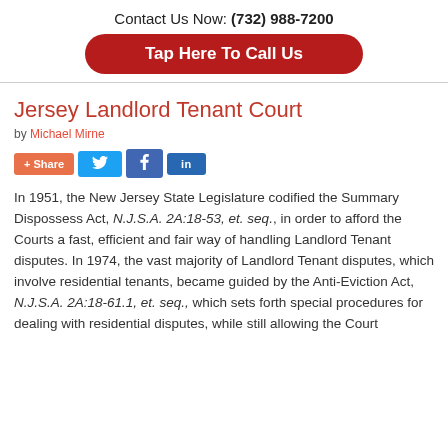Contact Us Now: (732) 988-7200
Tap Here To Call Us
Jersey Landlord Tenant Court
by Michael Mirne
[Figure (other): Social sharing buttons: + Share, Twitter, Facebook, LinkedIn]
In 1951, the New Jersey State Legislature codified the Summary Dispossess Act, N.J.S.A. 2A:18-53, et. seq., in order to afford the Courts a fast, efficient and fair way of handling Landlord Tenant disputes. In 1974, the vast majority of Landlord Tenant disputes, which involve residential tenants, became guided by the Anti-Eviction Act, N.J.S.A. 2A:18-61.1, et. seq., which sets forth special procedures for dealing with residential disputes, while still allowing the Court